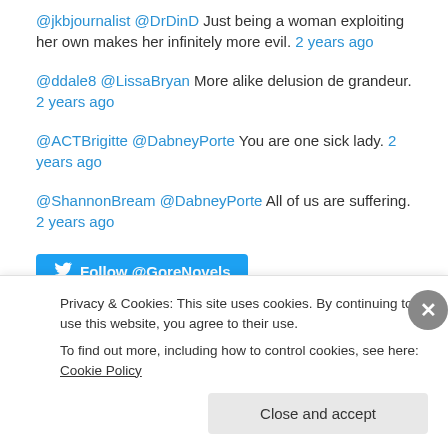@jkbjournalist @DrDinD Just being a woman exploiting her own makes her infinitely more evil. 2 years ago
@ddale8 @LissaBryan More alike delusion de grandeur. 2 years ago
@ACTBrigitte @DabneyPorte You are one sick lady. 2 years ago
@ShannonBream @DabneyPorte All of us are suffering. 2 years ago
[Figure (other): Blue Twitter Follow @GoreNovels button]
Flickr Photos
[Figure (photo): Flickr photo thumbnail, dark green/black image partially visible]
Privacy & Cookies: This site uses cookies. By continuing to use this website, you agree to their use.
To find out more, including how to control cookies, see here: Cookie Policy
Close and accept